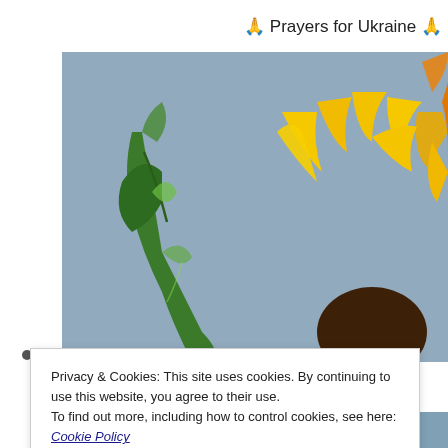🙏 Prayers for Ukraine 🙏
[Figure (illustration): Painting of a sunflower with green leaves against a blue-grey background, showing yellow and orange petals on the right side.]
Privacy & Cookies: This site uses cookies. By continuing to use this website, you agree to their use.
To find out more, including how to control cookies, see here: Cookie Policy
Close and accept